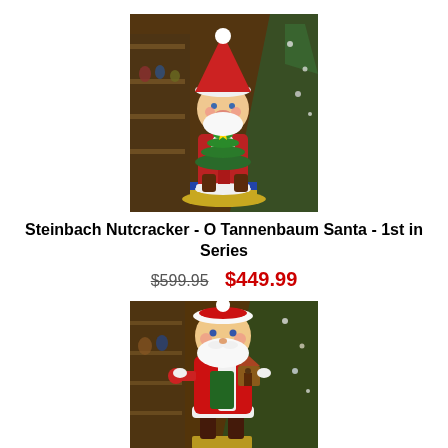[Figure (photo): Steinbach Nutcracker O Tannenbaum Santa figurine with Christmas tree base, photographed in a shop with ornaments and Christmas trees in the background]
Steinbach Nutcracker - O Tannenbaum Santa - 1st in Series
$599.95  $449.99
[Figure (photo): Steinbach Nutcracker Santa Claus figurine holding a birdhouse, dressed in red and white, photographed in a shop with Christmas decorations in the background]